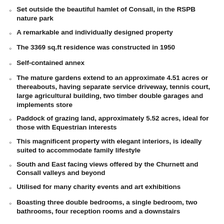Set outside the beautiful hamlet of Consall, in the RSPB nature park
A remarkable and individually designed property
The 3369 sq.ft residence was constructed in 1950
Self-contained annex
The mature gardens extend to an approximate 4.51 acres or thereabouts, having separate service driveway, tennis court, large agricultural building, two timber double garages and implements store
Paddock of grazing land, approximately 5.52 acres, ideal for those with Equestrian interests
This magnificent property with elegant interiors, is ideally suited to accommodate family lifestyle
South and East facing views offered by the Churnett and Consall valleys and beyond
Utilised for many charity events and art exhibitions
Boasting three double bedrooms, a single bedroom, two bathrooms, four reception rooms and a downstairs